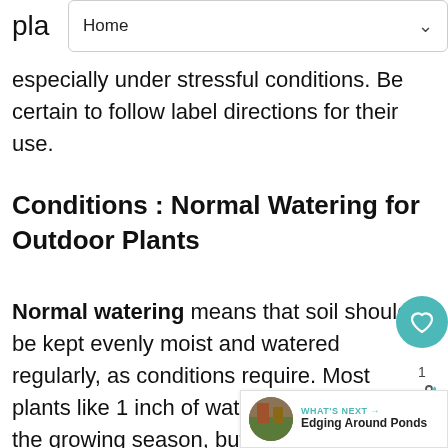Home
especially under stressful conditions. Be certain to follow label directions for their use.
Conditions : Normal Watering for Outdoor Plants
Normal watering means that soil should be kept evenly moist and watered regularly, as conditions require. Most plants like 1 inch of water a week during the growing season, but take care not to over water. The first after a plant is installed, regular watering is important for establishment. The first year is